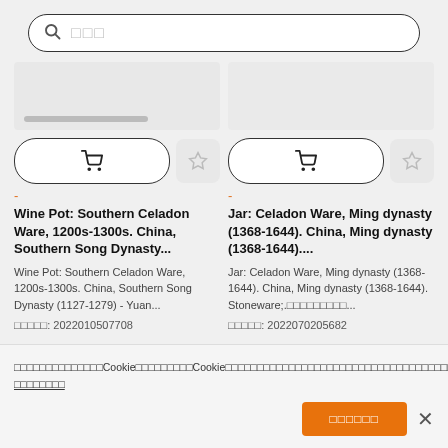[Figure (screenshot): Search bar with magnifying glass icon and placeholder text in Japanese/Chinese characters]
[Figure (screenshot): Two product cards showing museum artifacts with cart and favorite buttons, product titles, descriptions and IDs]
Wine Pot: Southern Celadon Ware, 1200s-1300s. China, Southern Song Dynasty...
Wine Pot: Southern Celadon Ware, 1200s-1300s. China, Southern Song Dynasty (1127-1279) - Yuan...
作品番号: 2022010507708
Jar: Celadon Ware, Ming dynasty (1368-1644). China, Ming dynasty (1368-1644)....
Jar: Celadon Ware, Ming dynasty (1368-1644). China, Ming dynasty (1368-1644). Stoneware;...
作品番号: 2022070205682
当ウェブサイトではCookieを使用しています。Cookieの使用に関する情報は、私たちのプライバシーポリシーに記載されています。当ウェブサイトのCookieの使用に同意するには以下をクリックしてください。 プライバシーポリシー